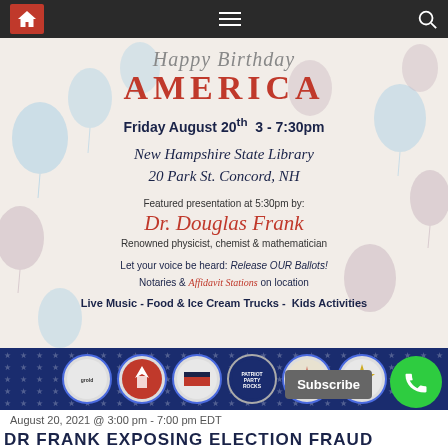[Figure (screenshot): Website navigation bar with home icon, hamburger menu, and search icon on dark background]
[Figure (infographic): Event flyer with balloon background. Text reads: Happy Birthday America. Friday August 20th 3-7:30pm. New Hampshire State Library, 20 Park St. Concord, NH. Featured presentation at 5:30pm by Dr. Douglas Frank. Renowned physicist, chemist & mathematician. Let your voice be heard: Release OUR Ballots! Notaries & Affidavit Stations on location. Live Music - Food & Ice Cream Trucks - Kids Activities.]
[Figure (infographic): Organization logos banner on dark blue patriotic background with stars pattern]
August 20, 2021 @ 3:00 pm - 7:00 pm EDT
DR FRANK EXPOSING ELECTION FRAUD